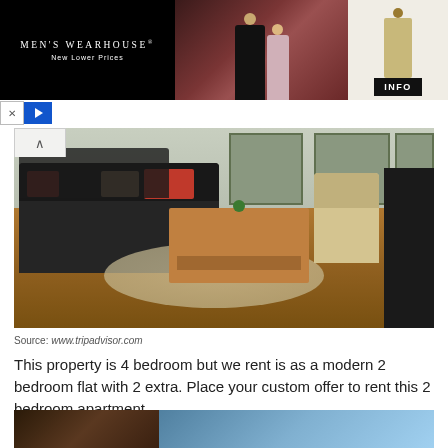[Figure (photo): Men's Wearhouse advertisement banner showing a couple in formal wear and a man in a beige suit, with INFO button]
[Figure (photo): Interior photo of a modern living room with dark sofa, coffee table, rug, and hardwood floors]
Source: www.tripadvisor.com
This property is 4 bedroom but we rent is as a modern 2 bedroom flat with 2 extra. Place your custom offer to rent this 2 bedroom apartment.
[Figure (photo): Partial photo strip at bottom of page showing exterior building/architectural detail]